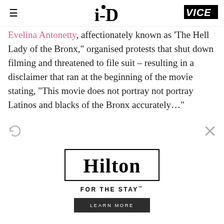i-D | VICE
Evelina Antonetty, affectionately known as 'The Hell Lady of the Bronx,' organised protests that shut down filming and threatened to file suit – resulting in a disclaimer that ran at the beginning of the movie stating, "This movie does not portray not portray Latinos and blacks of the Bronx accurately..."
Counter-narratives were in short supply. Fortunately, Ricky, who took up photography in 1980 during his senior year of high school, began creating a visual diary of his life in
[Figure (other): Hilton 'For The Stay' advertisement with Hilton logo in a box border, tagline 'FOR THE STAY', and a 'LEARN MORE' button]